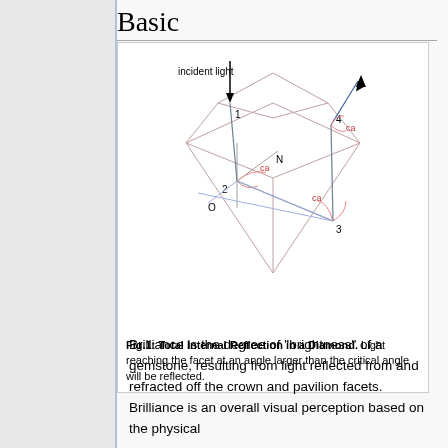Basic
[Figure (engineering-diagram): Diagram showing Total Internal Reflection in a Diamond. A diamond shape is drawn with light path labeled 'incident light' entering at point 1 (top), reflecting at point 2 (left interior), then to point 3 (bottom right interior), then exiting at point 4 (top right). Critical angles labeled 'ca' are shown at points 2, 3, and 4. Normal line 'N' is shown at point 2. Point 'O' is labeled at lower left.]
Fig.1: Total Internal Reflection in a Diamond. Light reaching the facet at an angle larger than the critical angle will be reflected.
Brilliance is the degree of "brightness" of a gemstone, resulting from light reflected from and refracted off the crown and pavilion facets. Brilliance is an overall visual perception based on the physical